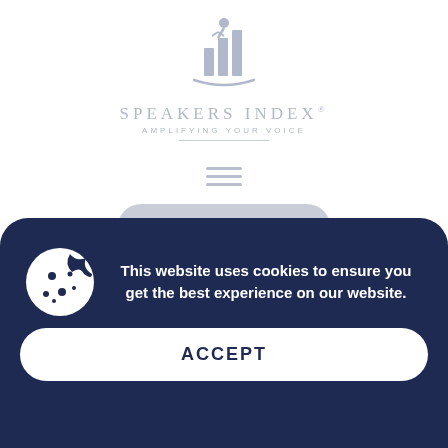[Figure (logo): Speakers Index logo: stylized figure with bar chart and curved swoosh line underneath]
SPEAKERS INDEX®
AMPLIFYING YOUR VOICE
[Figure (other): Hamburger menu icon (three horizontal lines)]
My Account
by everyone who feels lost, is over-stressed, or is currently experiencing their own burnout struggles.
Burnout, business, coaching, how the mind
This website uses cookies to ensure you get the best experience on our website.
ACCEPT